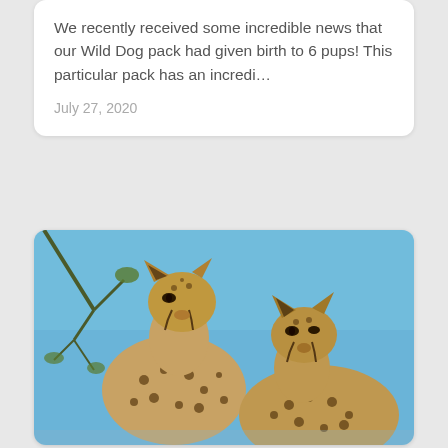We recently received some incredible news that our Wild Dog pack had given birth to 6 pups! This particular pack has an incredi…
July 27, 2020
[Figure (photo): Two cheetahs sitting against a blue sky background with sparse tree branches visible. The cheetahs have distinctive spotted coats and are looking to the left and right respectively.]